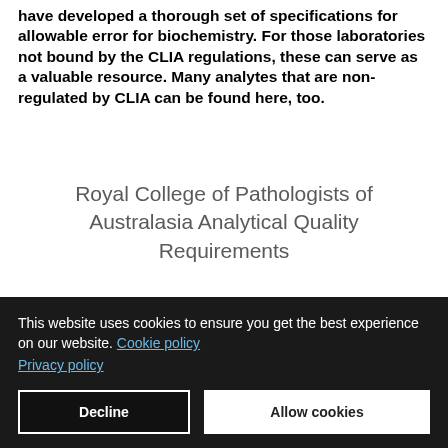have developed a thorough set of specifications for allowable error for biochemistry. For those laboratories not bound by the CLIA regulations, these can serve as a valuable resource. Many analytes that are non-regulated by CLIA can be found here, too.
Royal College of Pathologists of Australasia Analytical Quality Requirements
The tables below contain information on quality requirements set by the Royal College of Pathologists of Australasia and the Australasian Clincal Biochemist association Quality
This website uses cookies to ensure you get the best experience on our website. Cookie policy Privacy policy